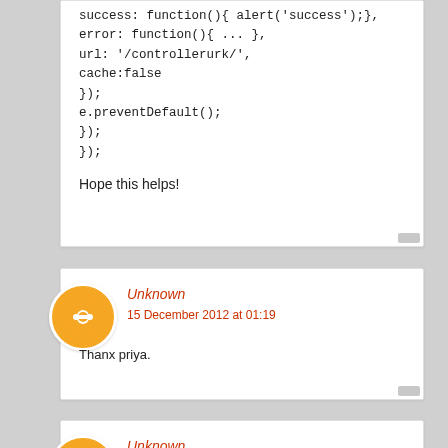success: function(){ alert('success');},
error: function(){ ... },
url: '/controllerurk/',
cache:false
});
e.preventDefault();
});
});

Hope this helps!
Unknown
15 December 2012 at 01:19
Thanx priya.
Unknown
15 December 2012 at 10:39